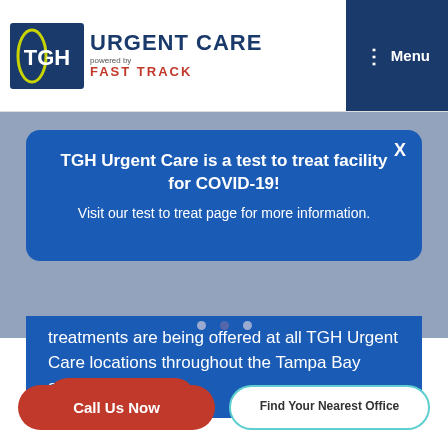[Figure (logo): TGH Urgent Care powered by Fast Track logo with dark blue background and red lettering]
Menu
TGH Urgent Care is a test to treat facility for COVID-19!
Visit our test to treat page for more information.
treatments are being offered at all TGH Urgent Care locations throughout the Tampa Bay area.
Learn More
Call Us Now
Find Your Nearest Office